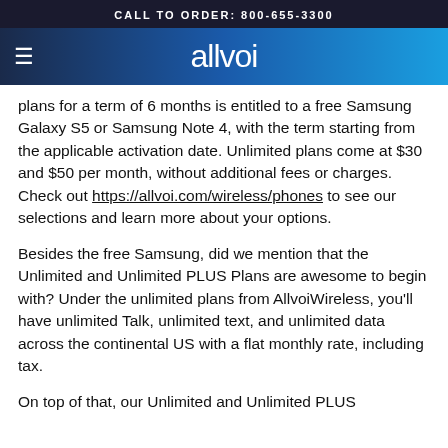CALL TO ORDER: 800-655-3300
allvoi
plans for a term of 6 months is entitled to a free Samsung Galaxy S5 or Samsung Note 4, with the term starting from the applicable activation date. Unlimited plans come at $30 and $50 per month, without additional fees or charges. Check out https://allvoi.com/wireless/phones to see our selections and learn more about your options.
Besides the free Samsung, did we mention that the Unlimited and Unlimited PLUS Plans are awesome to begin with? Under the unlimited plans from AllvoiWireless, you'll have unlimited Talk, unlimited text, and unlimited data across the continental US with a flat monthly rate, including tax.
On top of that, our Unlimited and Unlimited PLUS Plans from Allvoi Wireless are approximately 30...